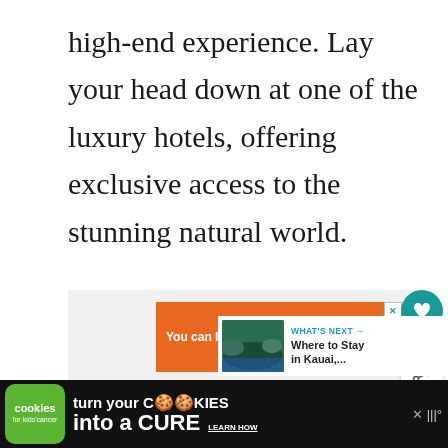high-end experience. Lay your head down at one of the luxury hotels, offering exclusive access to the stunning natural world.
[Figure (screenshot): Orange advertisement banner for No Kid Hungry: 'You can help hungry kids.' with LEARN HOW button, with close X button]
[Figure (infographic): Social sidebar with teal heart/like button, count of 4, and share button]
[Figure (screenshot): What's Next panel with thumbnail image of Kauai coastline and text 'Where to Stay in Kauai,...']
[Figure (screenshot): Bottom advertisement: Cookies for Kids Cancer - 'turn your COOKIES into a CURE LEARN HOW']